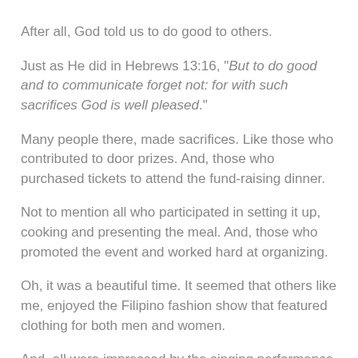After all, God told us to do good to others.
Just as He did in Hebrews 13:16, "But to do good and to communicate forget not: for with such sacrifices God is well pleased."
Many people there, made sacrifices.  Like those who contributed to door prizes.  And, those who purchased tickets to attend the fund-raising dinner.
Not to mention all who participated in setting it up, cooking and presenting the meal.  And, those who promoted the event and worked hard at organizing.
Oh, it was a beautiful time.  It seemed that others like me, enjoyed the Filipino fashion show that featured clothing for both men and women.
And, all were impressed by the singing performance of two (2) young girls, aged 5 & 11.  Wow!  What voices!